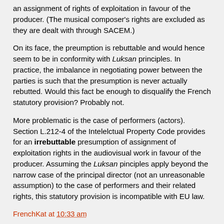an assignment of rights of exploitation in favour of the producer. (The musical composer's rights are excluded as they are dealt with through SACEM.)
On its face, the preumption is rebuttable and would hence seem to be in conformity with Luksan principles. In practice, the imbalance in negotiating power between the parties is such that the presumption is never actually rebutted. Would this fact be enough to disqualify the French statutory provision? Probably not.
More problematic is the case of performers (actors). Section L.212-4 of the Intelelctual Property Code provides for an irrebuttable presumption of assignment of exploitation rights in the audiovisual work in favour of the producer. Assuming the Luksan pinciples apply beyond the narrow case of the principal director (not an unreasonable assumption) to the case of performers and their related rights, this statutory provision is incompatible with EU law.
FrenchKat at 10:33 am